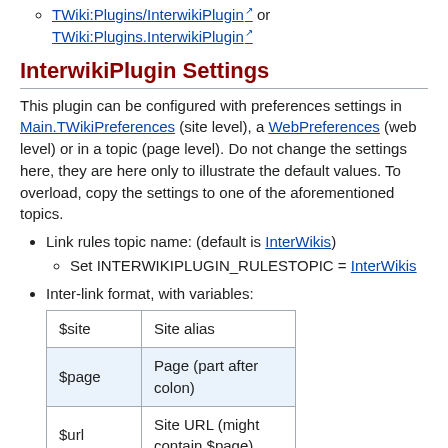TWiki:Plugins/InterwikiPlugin or TWiki:Plugins.InterwikiPlugin
InterwikiPlugin Settings
This plugin can be configured with preferences settings in Main.TWikiPreferences (site level), a WebPreferences (web level) or in a topic (page level). Do not change the settings here, they are here only to illustrate the default values. To overload, copy the settings to one of the aforementioned topics.
Link rules topic name: (default is InterWikis)
Set INTERWIKIPLUGIN_RULESTOPIC = InterWikis
Inter-link format, with variables:
| $site | Site alias |
| $page | Page (part after colon) |
| $url | Site URL (might contain $page) |
| $label | Equal to $site:$page |